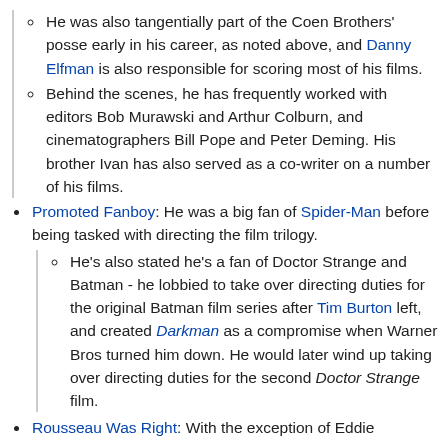He was also tangentially part of the Coen Brothers' posse early in his career, as noted above, and Danny Elfman is also responsible for scoring most of his films.
Behind the scenes, he has frequently worked with editors Bob Murawski and Arthur Colburn, and cinematographers Bill Pope and Peter Deming. His brother Ivan has also served as a co-writer on a number of his films.
Promoted Fanboy: He was a big fan of Spider-Man before being tasked with directing the film trilogy.
He's also stated he's a fan of Doctor Strange and Batman - he lobbied to take over directing duties for the original Batman film series after Tim Burton left, and created Darkman as a compromise when Warner Bros turned him down. He would later wind up taking over directing duties for the second Doctor Strange film.
Rousseau Was Right: With the exception of Eddie